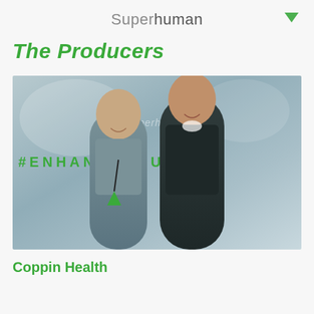Superhuman
The Producers
[Figure (photo): Two men standing in front of a banner reading #ENHANCEYOURSELF with a Superhuman logo watermark. The man on the left wears a gray t-shirt with a green lanyard badge. The man on the right wears a dark jacket.]
Coppin Health